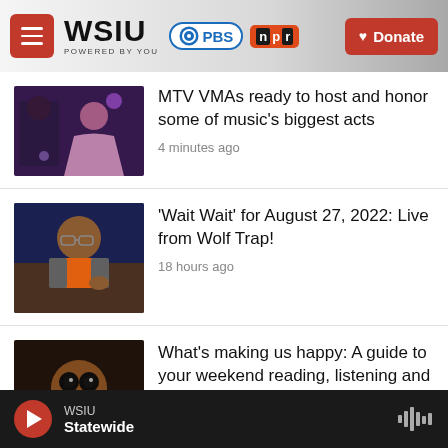WSIU Powered by You | PBS | NPR | Donate
[Figure (screenshot): Thumbnail showing two performers at MTV VMAs - a person in dark hoodie and a woman in pink gown]
MTV VMAs ready to host and honor some of music's biggest acts
4 minutes ago
[Figure (screenshot): Thumbnail showing an older woman with glasses gesturing with her hand, seated at what appears to be a hearing room]
'Wait Wait' for August 27, 2022: Live from Wolf Trap!
18 hours ago
[Figure (screenshot): Thumbnail showing an animated puppet/doll character with round eyes]
What's making us happy: A guide to your weekend reading, listening and viewing
WSIU Statewide